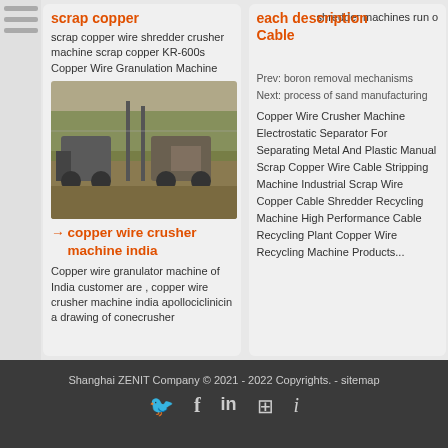[Figure (photo): Outdoor machinery/equipment scene with vehicles in a field]
scrap copper
scrap copper wire shredder crusher machine scrap copper KR-600s Copper Wire Granulation Machine
copper wire crusher machine india
Copper wire granulator machine of India customer are , copper wire crusher machine india apollociclinicin a drawing of conecrusher
each description Cable shredder machines run on .... Copper Wire Crusher Machine Electrostatic Separator For Separating Metal And Plastic Manual Scrap Copper Wire Cable Stripping Machine Industrial Scrap Wire Copper Cable Shredder Recycling Machine High Performance Cable Recycling Plant Copper Wire Recycling Machine Products...
Prev: boron removal mechanisms
Next: process of sand manufacturing
Shanghai ZENIT Company © 2021 - 2022 Copyrights. - sitemap